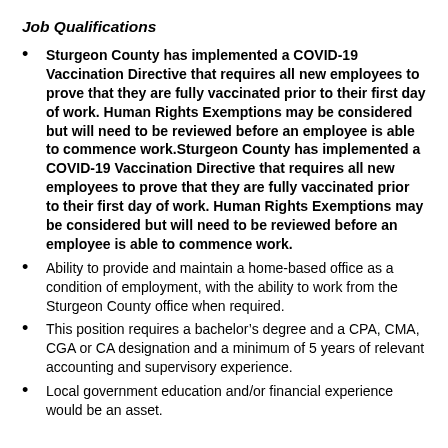Job Qualifications
Sturgeon County has implemented a COVID-19 Vaccination Directive that requires all new employees to prove that they are fully vaccinated prior to their first day of work. Human Rights Exemptions may be considered but will need to be reviewed before an employee is able to commence work.Sturgeon County has implemented a COVID-19 Vaccination Directive that requires all new employees to prove that they are fully vaccinated prior to their first day of work. Human Rights Exemptions may be considered but will need to be reviewed before an employee is able to commence work.
Ability to provide and maintain a home-based office as a condition of employment, with the ability to work from the Sturgeon County office when required.
This position requires a bachelor’s degree and a CPA, CMA, CGA or CA designation and a minimum of 5 years of relevant accounting and supervisory experience.
Local government education and/or financial experience would be an asset.